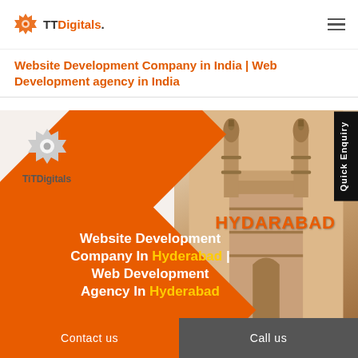TTDigitals.
Website Development Company in India | Web Development agency in India
[Figure (infographic): TTDigitals website development company banner featuring orange diamond shapes, TTDigitals logo, Charminar monument illustration, HYDERABAD text overlay, and text reading 'Website Development Company In Hyderabad | Web Development Agency In Hyderabad']
Contact us | Call us